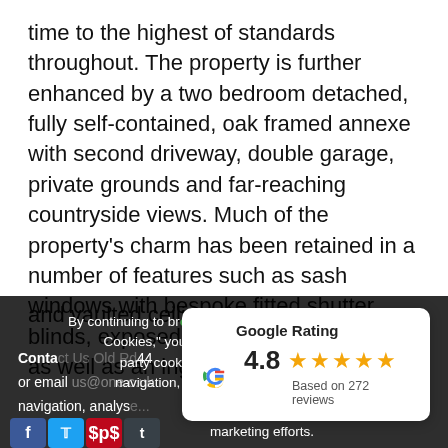time to the highest of standards throughout. The property is further enhanced by a two bedroom detached, fully self-contained, oak framed annexe with second driveway, double garage, private grounds and far-reaching countryside views. Much of the property's charm has been retained in a number of features such as sash windows with bespoke fitted shutter blinds, exposed timbers and panelling as well as an inglenook fireplace and vaulted ceilings.
By continuing to browse or by clicking "Accept All Cookies," you agree to the storing of first- and third-party cookies on your device to enhance site navigation, analyse site usage, and assist in our marketing efforts.
[Figure (other): Google Rating card showing 4.8 stars based on 272 reviews, with the Google G logo]